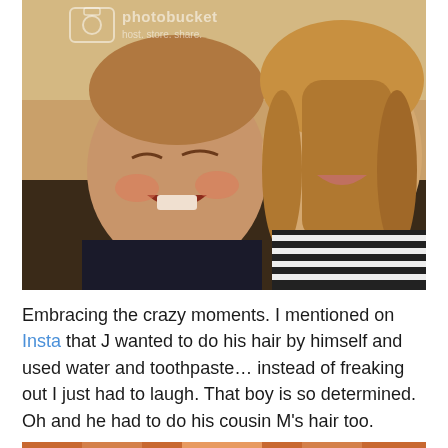[Figure (photo): A young boy and a woman (blonde, wearing a black and white striped top) taking a selfie/close-up photo together. The boy appears to be laughing or making a funny face and is holding something yellow-green. There is a Photobucket watermark overlay reading 'photobucket host. store. share.' in the upper portion of the image.]
Embracing the crazy moments. I mentioned on Insta that J wanted to do his hair by himself and used water and toothpaste… instead of freaking out I just had to laugh. That boy is so determined. Oh and he had to do his cousin M's hair too.